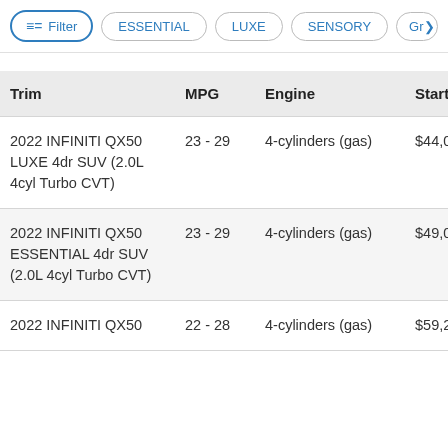Filter | ESSENTIAL | LUXE | SENSORY | Gr>
| Trim | MPG | Engine | Startin |
| --- | --- | --- | --- |
| 2022 INFINITI QX50 LUXE 4dr SUV (2.0L 4cyl Turbo CVT) | 23 - 29 | 4-cylinders (gas) | $44,08 |
| 2022 INFINITI QX50 ESSENTIAL 4dr SUV (2.0L 4cyl Turbo CVT) | 23 - 29 | 4-cylinders (gas) | $49,08 |
| 2022 INFINITI QX50 | 22 - 28 | 4-cylinders (gas) | $59,26 |